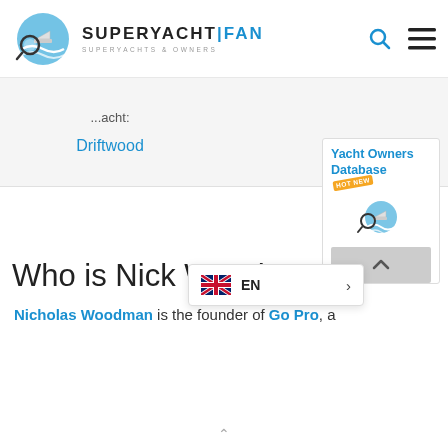[Figure (logo): SuperYacht Fan logo with magnifying glass over yacht waves icon and text SUPERYACHT FAN / SUPERYACHTS & OWNERS]
...acht:
Driftwood
[Figure (screenshot): Yacht Owners Database promotional sidebar with SuperYacht Fan logo icon and HOT NEW badge, plus scroll-up button]
Who is Nick Woodm...
Nicholas Woodman is the founder of Go Pro, a
[Figure (screenshot): Language selector overlay showing UK flag, EN text, and right arrow chevron]